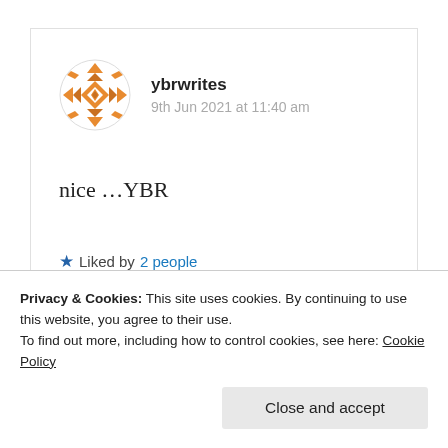ybrwrites
9th Jun 2021 at 11:40 am
nice …YBR
★ Liked by 2 people
Log in to Reply
Privacy & Cookies: This site uses cookies. By continuing to use this website, you agree to their use.
To find out more, including how to control cookies, see here: Cookie Policy
Close and accept
Thank you for your time my friend 😇